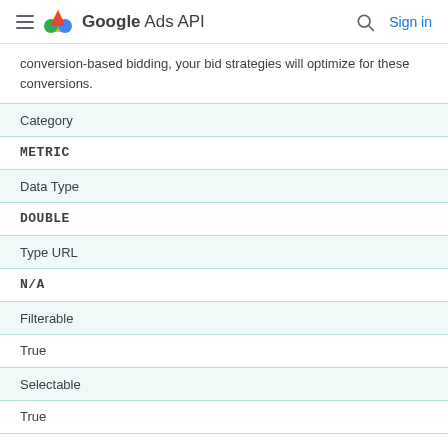Google Ads API  Sign in
conversion-based bidding, your bid strategies will optimize for these conversions.
| Field | Value |
| --- | --- |
| Category | METRIC |
| Data Type | DOUBLE |
| Type URL | N/A |
| Filterable | True |
| Selectable | True |